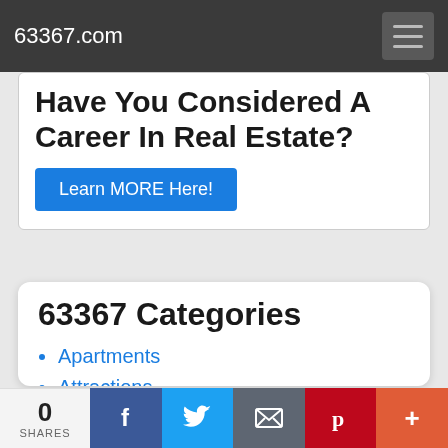63367.com
Have You Considered A Career In Real Estate?
Learn MORE Here!
63367 Categories
Apartments
Attractions
Communities
Condominiums
Contractors
Dining
Employers
0 SHARES